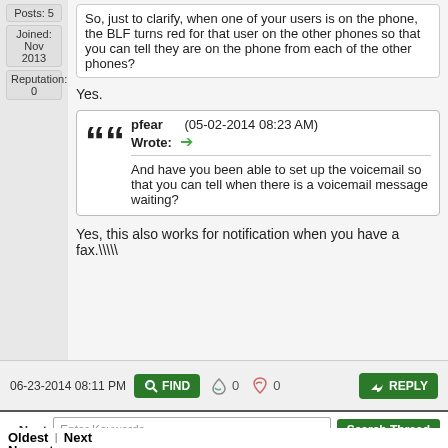Posts: 5
Joined: Nov 2013
Reputation: 0
So, just to clarify, when one of your users is on the phone, the BLF turns red for that user on the other phones so that you can tell they are on the phone from each of the other phones?
Yes.
pfear (05-02-2014 08:23 AM) Wrote: → And have you been able to set up the voicemail so that you can tell when there is a voicemail message waiting?
Yes, this also works for notification when you have a fax.\\\
06-23-2014 08:11 PM
« Next
Oldest | Next
Newest »